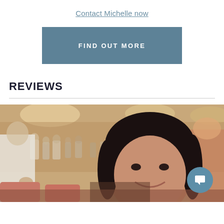Contact Michelle now
FIND OUT MORE
REVIEWS
[Figure (photo): Photo of a woman with dark hair smiling at a conference or banquet hall event, with other attendees and pink chairs visible in the background. A teal chat bubble icon appears in the lower right corner.]